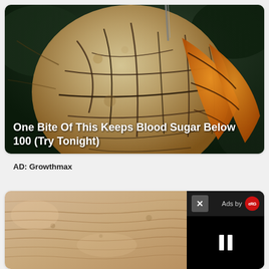[Figure (photo): Close-up macro photo of an insect or bug with segmented orange and brown/cream cracked exoskeleton body, on a dark green background with a stick or pin visible at top]
One Bite Of This Keeps Blood Sugar Below 100 (Try Tonight)
AD: Growthmax
[Figure (photo): Close-up photo of elderly skin showing wrinkles and texture in beige/tan tones, with a black video player overlay on the right showing a close button (X), 'Ads by eRG' text, and a pause button (II)]